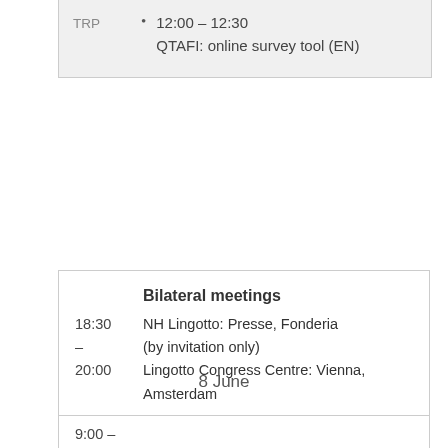12:00 – 12:30 QTAFI: online survey tool (EN)
TRP
Bilateral meetings
18:30 – 20:00  NH Lingotto: Presse, Fonderia (by invitation only)
Lingotto Congress Centre: Vienna, Amsterdam
8 June
9:00 –